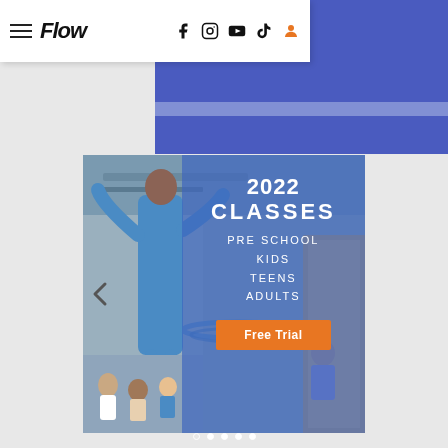Flow — navigation bar with hamburger menu, logo 'Flow', social icons: Facebook, Instagram, YouTube, TikTok, User account (orange)
[Figure (photo): Gymnasium/parkour gym photo showing a child jumping in blue outfit, with other children in background. Blue semi-transparent overlay panel shows '2022 CLASSES / PRE SCHOOL / KIDS / TEENS / ADULTS' with an orange 'Free Trial' button. Slide carousel with left arrow and dot indicators.]
2022
CLASSES
PRE SCHOOL
KIDS
TEENS
ADULTS
Free Trial